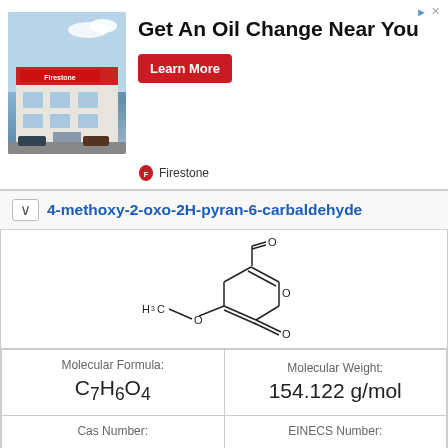[Figure (screenshot): Advertisement banner for Firestone oil change service showing a Firestone store building photo, headline 'Get An Oil Change Near You', a red 'Learn More' button, and the Firestone logo]
4-methoxy-2-oxo-2H-pyran-6-carbaldehyde
[Figure (engineering-diagram): Chemical structure diagram of 4-methoxy-2-oxo-2H-pyran-6-carbaldehyde showing a pyran ring with methoxy group, carbonyl group, and aldehyde substituents]
| Molecular Formula: | Molecular Weight: |
| --- | --- |
| C7H6O4 | 154.122 g/mol |
| Cas Number: | EINECS Number: |
| - | - |